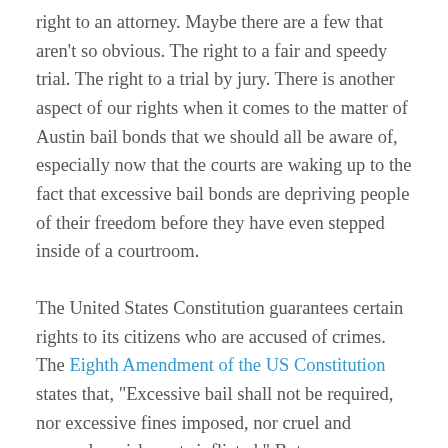right to an attorney. Maybe there are a few that aren't so obvious. The right to a fair and speedy trial. The right to a trial by jury. There is another aspect of our rights when it comes to the matter of Austin bail bonds that we should all be aware of, especially now that the courts are waking up to the fact that excessive bail bonds are depriving people of their freedom before they have even stepped inside of a courtroom.
The United States Constitution guarantees certain rights to its citizens who are accused of crimes. The Eighth Amendment of the US Constitution states that, “Excessive bail shall not be required, nor excessive fines imposed, nor cruel and unusual punishments inflicted.” But, unfortunately, some judges are setting bail bond amounts that are so high, no reasonable person could afford to post a cash bond or even pay the